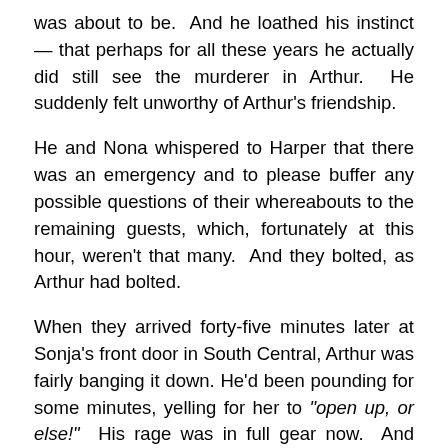was about to be.  And he loathed his instinct — that perhaps for all these years he actually did still see the murderer in Arthur.  He suddenly felt unworthy of Arthur's friendship.
He and Nona whispered to Harper that there was an emergency and to please buffer any possible questions of their whereabouts to the remaining guests, which, fortunately at this hour, weren't that many.  And they bolted, as Arthur had bolted.
When they arrived forty-five minutes later at Sonja's front door in South Central, Arthur was fairly banging it down. He'd been pounding for some minutes, yelling for her to "open up, or else!"  His rage was in full gear now.  And there really is nothing quite so powerful and awe-spurring as the rage of a Black man; his voice is somehow deeper,